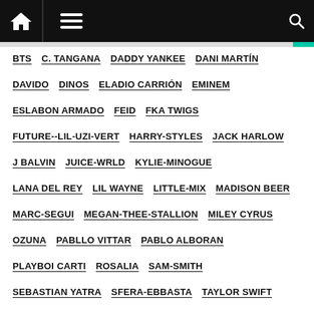Navigation bar with home icon, hamburger menu, and search icon
BTS
C. TANGANA
DADDY YANKEE
DANI MARTÍN
DAVIDO
DINOS
ELADIO CARRIÓN
EMINEM
ESLABON ARMADO
FEID
FKA TWIGS
FUTURE--LIL-UZI-VERT
HARRY-STYLES
JACK HARLOW
J BALVIN
JUICE-WRLD
KYLIE-MINOGUE
LANA DEL REY
LIL WAYNE
LITTLE-MIX
MADISON BEER
MARC-SEGUI
MEGAN-THEE-STALLION
MILEY CYRUS
OZUNA
PABLLO VITTAR
PABLO ALBORAN
PLAYBOI CARTI
ROSALIA
SAM-SMITH
SEBASTIAN YATRA
SFERA-EBBASTA
TAYLOR SWIFT
THE WEEKND